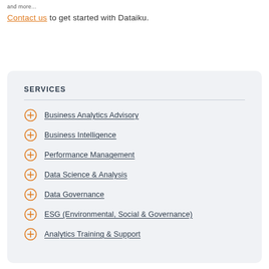and more...
Contact us to get started with Dataiku.
SERVICES
Business Analytics Advisory
Business Intelligence
Performance Management
Data Science & Analysis
Data Governance
ESG (Environmental, Social & Governance)
Analytics Training & Support